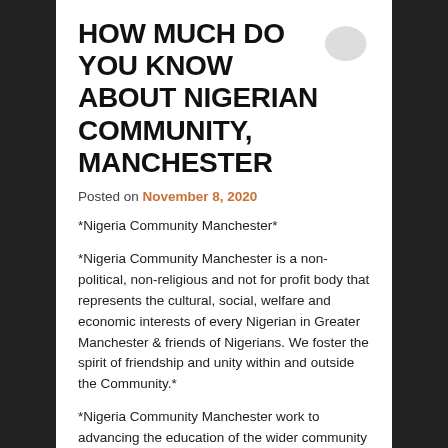HOW MUCH DO YOU KNOW ABOUT NIGERIAN COMMUNITY, MANCHESTER
Posted on November 8, 2020
*Nigeria Community Manchester*
*Nigeria Community Manchester is a non-political, non-religious and not for profit body that represents the cultural, social, welfare and economic interests of every Nigerian in Greater Manchester & friends of Nigerians. We foster the spirit of friendship and unity within and outside the Community.*
*Nigeria Community Manchester work to advancing the education of the wider community on all aspects of Nigerian culture and heritage, and the positive contribution of immigrants of Nigerian decent. We also